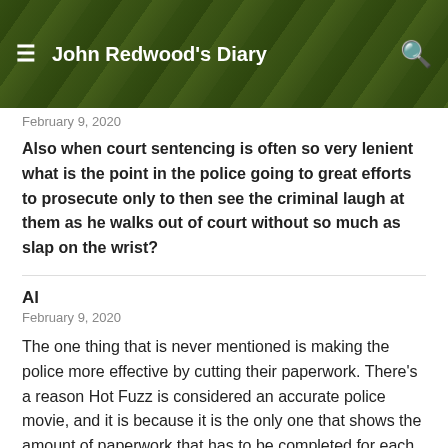John Redwood's Diary
February 9, 2020
Also when court sentencing is often so very lenient what is the point in the police going to great efforts to prosecute only to then see the criminal laugh at them as he walks out of court without so much as slap on the wrist?
Al
February 9, 2020
The one thing that is never mentioned is making the police more effective by cutting their paperwork. There's a reason Hot Fuzz is considered an accurate police movie, and it is because it is the only one that shows the amount of paperwork that has to be completed for each offense, each